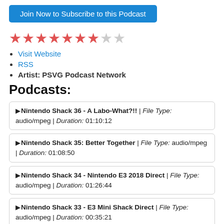[Figure (other): Blue subscribe button: Join Now to Subscribe to this Podcast]
[Figure (other): Star rating: 7 filled red stars and 2 empty gray stars]
Visit Website
RSS
Artist: PSVG Podcast Network
Podcasts:
Nintendo Shack 36 - A Labo-What?!! | File Type: audio/mpeg | Duration: 01:10:12
Nintendo Shack 35: Better Together | File Type: audio/mpeg | Duration: 01:08:50
Nintendo Shack 34 - Nintendo E3 2018 Direct | File Type: audio/mpeg | Duration: 01:26:44
Nintendo Shack 33 - E3 Mini Shack Direct | File Type: audio/mpeg | Duration: 00:35:21
Nintendo Shack 32: It's Not a Comeback | File Type: audio/mpeg | Duration: 01:31:59